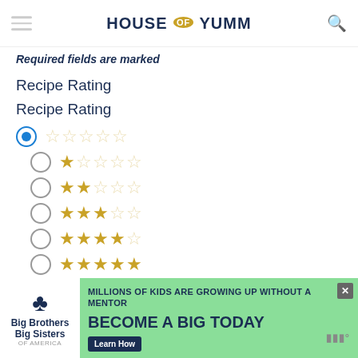House of Yumm
Required fields are marked
Recipe Rating
Recipe Rating
0 stars (selected)
1 star
2 stars
3 stars
4 stars
5 stars
Comment *
[Figure (screenshot): Big Brothers Big Sisters advertisement banner: 'Millions of kids are growing up without a mentor. Become a Big Today. Learn How']